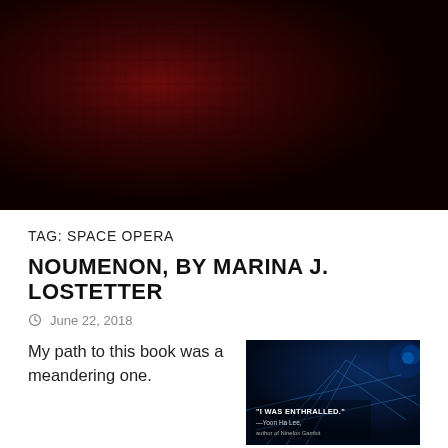[Figure (photo): Dark reddish-brown textured background image, abstract grid-like pattern, serving as a hero/banner image at the top of the page.]
TAG: SPACE OPERA
NOUMENON, BY MARINA J. LOSTETTER
June 22, 2018
My path to this book was a meandering one.
[Figure (photo): Book cover of Noumenon by Marina J. Lostetter, featuring a dark blue sci-fi scene with a quote: 'I WAS ENTHRALLED.' —Yoon Ha Lee, author of Ninefox Gambit]